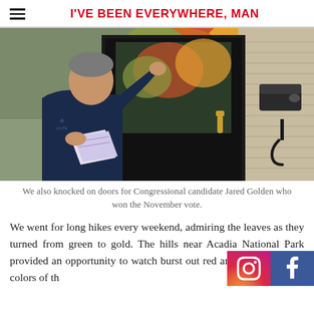I'VE BEEN EVERYWHERE, MAN
[Figure (photo): A man in a navy blue hoodie knocking on a dark door, holding campaign flyers, with colorful autumn foliage visible through the door's glass panel and a mailbox on the right side of the house.]
We also knocked on doors for Congressional candidate Jared Golden who won the November vote.
We went for long hikes every weekend, admiring the leaves as they turned from green to gold. The hills near Acadia National Park provided an opportunity to watch burst out red and orange and the colors of th